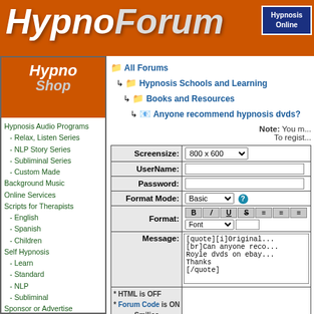[Figure (logo): HypnoForum banner with orange background, white italic text 'Hypno Forum' and 'Hypnosis Online' box in top right]
[Figure (logo): HypnoShop logo with orange background, white text and orange arrow pointing down]
Hypnosis Audio Programs
- Relax, Listen Series
- NLP Story Series
- Subliminal Series
- Custom Made
Background Music
Online Services
Scripts for Therapists
- English
- Spanish
- Children
Self Hypnosis
- Learn
- Standard
- NLP
- Subliminal
Sponsor or Advertise
Hypnosis Training
- Hypnosis
- Self Hypnosis
- Stage Hypnosis
Reseller Items
All Forums > Hypnosis Schools and Learning > Books and Resources > Anyone recommend hypnosis dvds?
Note: You m... To regist...
| Label | Value |
| --- | --- |
| Screensize: | 800 x 600 |
| UserName: |  |
| Password: |  |
| Format Mode: | Basic |
| Format: | B I U S align align font |
| Message: | [quote][i]Original...[br]Can anyone reco... Royle dvds on ebay... Thanks [/quote] |